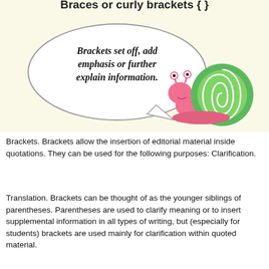[Figure (illustration): A cartoon snail with a pink body and green spiral shell, with a speech bubble saying 'Brackets set off, add emphasis or further explain information.' on a light yellow background. At the top, partially visible text reads 'Braces or curly brackets { }'.]
Brackets. Brackets allow the insertion of editorial material inside quotations. They can be used for the following purposes: Clarification.
Translation. Brackets can be thought of as the younger siblings of parentheses. Parentheses are used to clarify meaning or to insert supplemental information in all types of writing, but (especially for students) brackets are used mainly for clarification within quoted material.